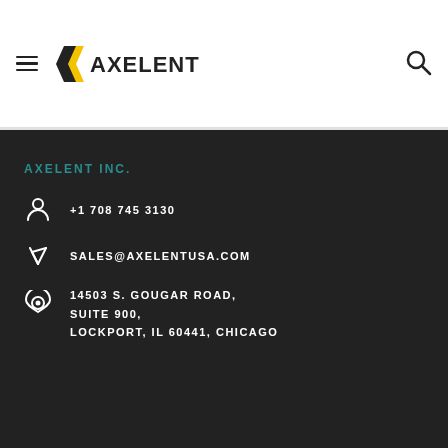Axelent
AXELENT INC.
+1 708 745 3130
SALES@AXELENTUSA.COM
14503 S. GOUGAR ROAD, SUITE 900, LOCKPORT, IL 60441, CHICAGO